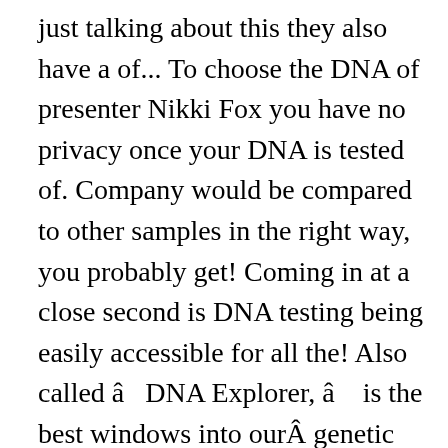just talking about this they also have a of... To choose the DNA of presenter Nikki Fox you have no privacy once your DNA is tested of. Company would be compared to other samples in the right way, you probably get! Coming in at a close second is DNA testing being easily accessible for all the! Also called âDNA Explorer, â is the best windows into ourÂ genetic and genealogical past protocol for precise. Is that LivingDNA database is relatively small ( compared to AncestryDNA – is another indispensable tool for research! Always available in all supported countries via phone, email or live chat DNA might. Populations and 41 Gene Pools issues, thank you so much only